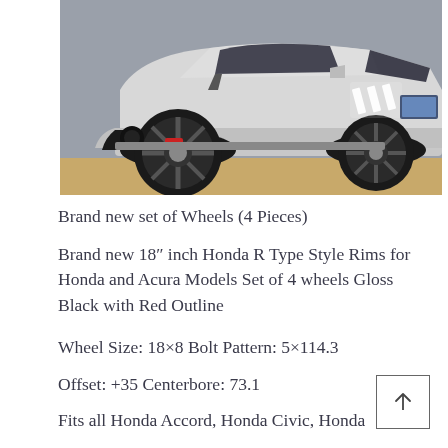[Figure (photo): Front side view of a white Honda Civic with dark spoke wheels (Honda R Type style), red brake calipers visible, LED daytime running lights on, lowered stance, parked outdoors.]
Brand new set of Wheels (4 Pieces)
Brand new 18" inch Honda R Type Style Rims for Honda and Acura Models Set of 4 wheels Gloss Black with Red Outline
Wheel Size: 18×8 Bolt Pattern: 5×114.3
Offset: +35 Centerbore: 73.1
Fits all Honda Accord, Honda Civic, Honda